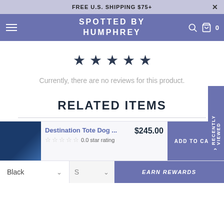FREE U.S. SHIPPING $75+
SPOTTED BY HUMPHREY
[Figure (other): Five-star rating icons (empty/outline stars)]
Currently, there are no reviews for this product.
RELATED ITEMS
[Figure (photo): Product photo: Destination Tote Dog bag in black]
Destination Tote Dog ... $245.00  0.0 star rating
Black
EARN REWARDS